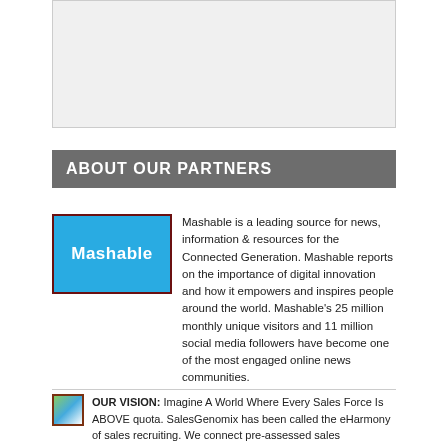[Figure (other): Gray placeholder box at top of page]
ABOUT OUR PARTNERS
[Figure (logo): Mashable logo: blue rectangle with white bold text 'Mashable']
Mashable is a leading source for news, information & resources for the Connected Generation. Mashable reports on the importance of digital innovation and how it empowers and inspires people around the world. Mashable's 25 million monthly unique visitors and 11 million social media followers have become one of the most engaged online news communities.
[Figure (logo): Small SalesGenomix logo icon, small square with landscape-style graphic]
OUR VISION: Imagine A World Where Every Sales Force Is ABOVE quota. SalesGenomix has been called the eHarmony of sales recruiting. We connect pre-assessed sales professionals to jobs that match their unique sales DNA. As a sales recruiter this means, no time wasted with unqualified applicants, no more unforced hiring errors. More qualified candidates, less turnover, more sales. Spend your time talking